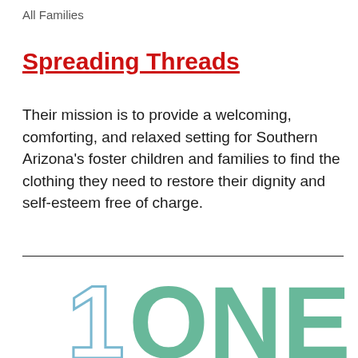All Families
Spreading Threads
Their mission is to provide a welcoming, comforting, and relaxed setting for Southern Arizona's foster children and families to find the clothing they need to restore their dignity and self-esteem free of charge.
[Figure (illustration): Large '1 ONE' text graphic with the numeral '1' in light blue outline and the word 'ONE' in teal/green solid letters, partially visible at the bottom of the page.]